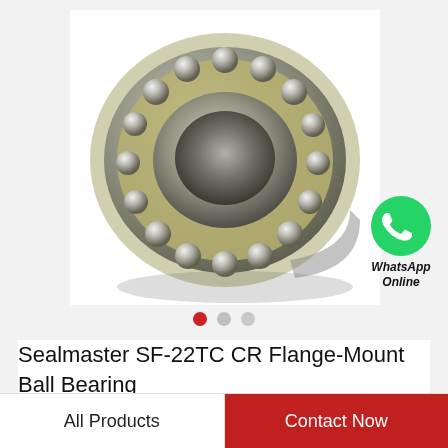[Figure (photo): A Sealmaster SF-22TC CR Flange-Mount Ball Bearing shown on a white background. The bearing is metallic/chrome with visible ball bearings in a race, photographed at a slight angle.]
[Figure (logo): WhatsApp green phone icon circle logo with text 'WhatsApp Online' below it in bold italic.]
Sealmaster SF-22TC CR Flange-Mount Ball Bearing
All Products
Contact Now